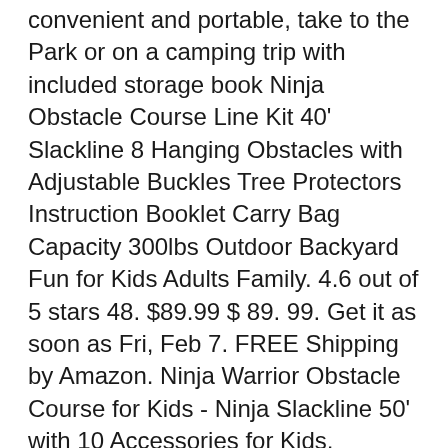convenient and portable, take to the Park or on a camping trip with included storage book Ninja Obstacle Course Line Kit 40' Slackline 8 Hanging Obstacles with Adjustable Buckles Tree Protectors Instruction Booklet Carry Bag Capacity 300lbs Outdoor Backyard Fun for Kids Adults Family. 4.6 out of 5 stars 48. $89.99 $ 89. 99. Get it as soon as Fri, Feb 7. FREE Shipping by Amazon. Ninja Warrior Obstacle Course for Kids - Ninja Slackline 50' with 10 Accessories for Kids, Includes
12/01/2020 · Nowadays, there are so many products of ninja line kit in the market and you are wondering to choose a best one. You have searched